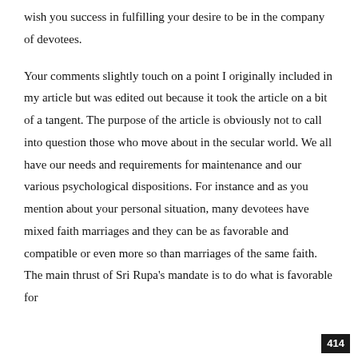wish you success in fulfilling your desire to be in the company of devotees.

Your comments slightly touch on a point I originally included in my article but was edited out because it took the article on a bit of a tangent. The purpose of the article is obviously not to call into question those who move about in the secular world. We all have our needs and requirements for maintenance and our various psychological dispositions. For instance and as you mention about your personal situation, many devotees have mixed faith marriages and they can be as favorable and compatible or even more so than marriages of the same faith. The main thrust of Sri Rupa's mandate is to do what is favorable for
414